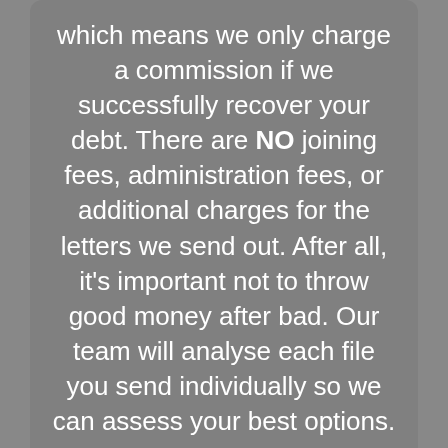which means we only charge a commission if we successfully recover your debt. There are NO joining fees, administration fees, or additional charges for the letters we send out. After all, it's important not to throw good money after bad. Our team will analyse each file you send individually so we can assess your best options.
To escalate the debt collection process, fill out the form provided here.
Click here to accept our Terms &